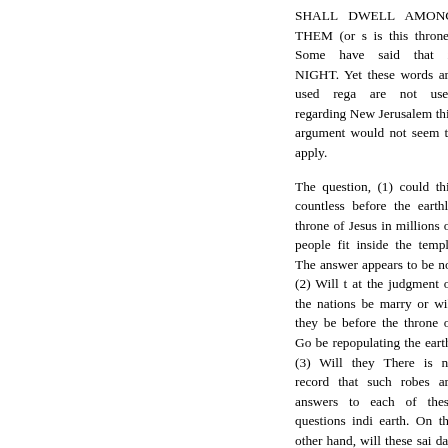SHALL DWELL AMONG THEM (or s is this throne? Some have said that it NIGHT. Yet these words are used rega are not used regarding New Jerusalem this argument would not seem to apply.
The question, (1) could this countless before the earthly throne of Jesus in millions of people fit inside the temple The answer appears to be no. (2) Will t at the judgment of the nations be marry or will they be before the throne of Go be repopulating the earth. (3) Will they There is no record that such robes are answers to each of these questions indi earth. On the other hand, will these sai day and night? or will they be resting f judgments taking place? Rev 6:11 and 1
Rev 7:16 says, NEITHER SHALL T millennial verse, the following needs t says, THE LIGHT OF THE SUN SHA DAYS-Isa 30:26. (4) Again, this verse 7, cannot be on earth. The (5) HEAT m throne and temple.
Both verse 16 and 17, almost seem as as New Jerusalem, yet they may be in h